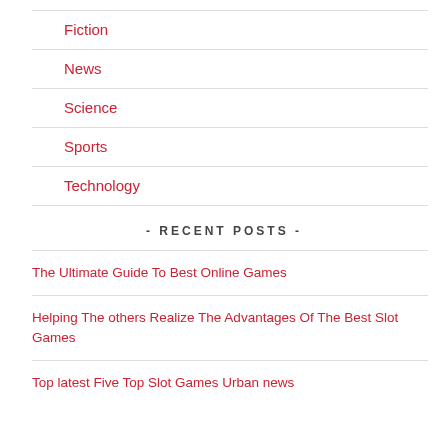Fiction
News
Science
Sports
Technology
- RECENT POSTS -
The Ultimate Guide To Best Online Games
Helping The others Realize The Advantages Of The Best Slot Games
Top latest Five Top Slot Games Urban news